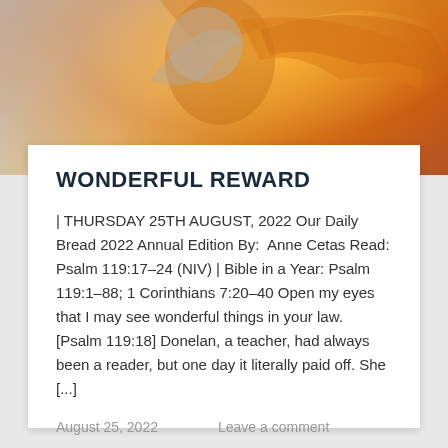[Figure (photo): A person with flowing orange/red hair against a bright sunlit background with warm golden tones]
WONDERFUL REWARD
| THURSDAY 25TH AUGUST, 2022 Our Daily Bread 2022 Annual Edition By:  Anne Cetas Read: Psalm 119:17–24 (NIV) | Bible in a Year: Psalm 119:1–88; 1 Corinthians 7:20–40 Open my eyes that I may see wonderful things in your law. [Psalm 119:18] Donelan, a teacher, had always been a reader, but one day it literally paid off. She [...]
August 25, 2022      Leave a comment